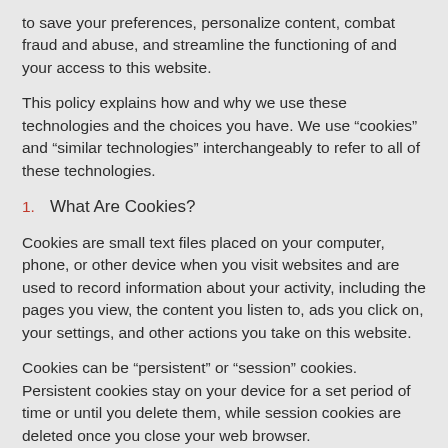to save your preferences, personalize content, combat fraud and abuse, and streamline the functioning of and your access to this website.
This policy explains how and why we use these technologies and the choices you have. We use “cookies” and “similar technologies” interchangeably to refer to all of these technologies.
1. What Are Cookies?
Cookies are small text files placed on your computer, phone, or other device when you visit websites and are used to record information about your activity, including the pages you view, the content you listen to, ads you click on, your settings, and other actions you take on this website.
Cookies can be “persistent” or “session” cookies. Persistent cookies stay on your device for a set period of time or until you delete them, while session cookies are deleted once you close your web browser.
1. Similar Technologies